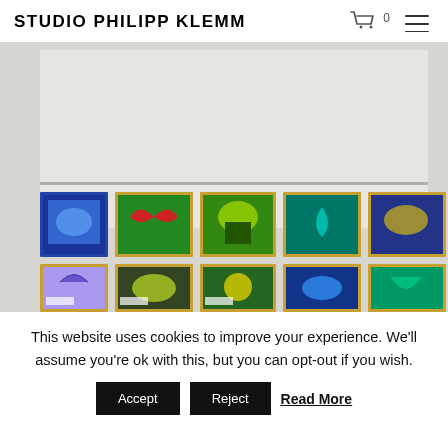STUDIO PHILIPP KLEMM
[Figure (photo): Gallery wall showing two rows of colorful framed artworks/paintings displayed in an exhibition space. The artworks feature vibrant patterns with trees, leaves, and organic forms in blues, reds, greens, yellows, and purples. The gallery has a white wall and ceiling with track lighting.]
This website uses cookies to improve your experience. We'll assume you're ok with this, but you can opt-out if you wish.
Accept   Reject   Read More